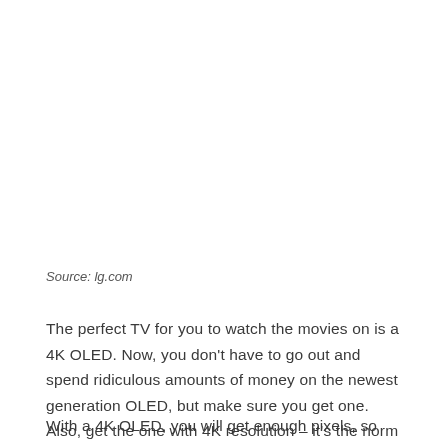Source: lg.com
The perfect TV for you to watch the movies on is a 4K OLED. Now, you don't have to go out and spend ridiculous amounts of money on the newest generation OLED, but make sure you get one. Also, get the one with 4K resolution – it's the norm right now.
With a 4K OLED, you will get enough pixels, so you